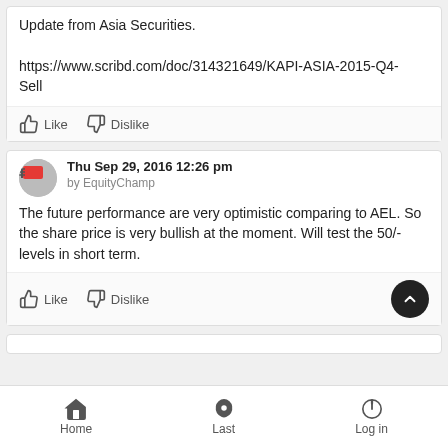Update from Asia Securities.

https://www.scribd.com/doc/314321649/KAPI-ASIA-2015-Q4-Sell
Like   Dislike
Thu Sep 29, 2016 12:26 pm
by EquityChamp
The future performance are very optimistic comparing to AEL. So the share price is very bullish at the moment. Will test the 50/- levels in short term.
Like   Dislike
Home   Last   Log in